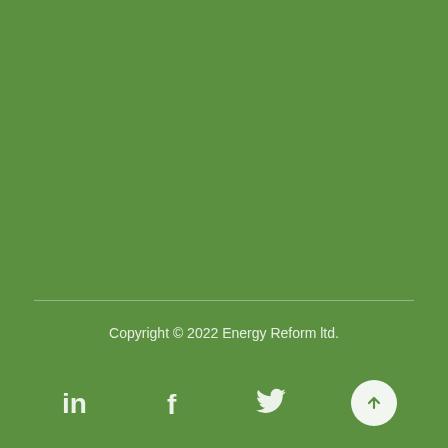Copyright © 2022 Energy Reform ltd.
[Figure (illustration): Social media icons: LinkedIn, Facebook, Twitter, and an upward arrow button in a white circle, arranged horizontally at the bottom of a green page footer.]